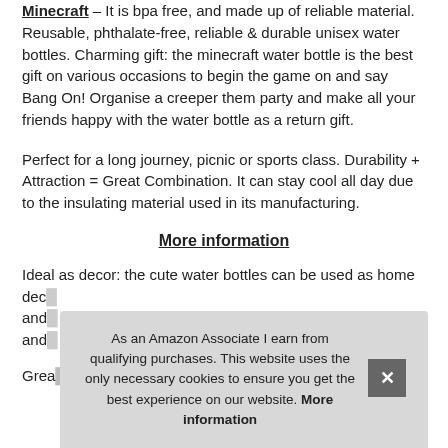Minecraft – It is bpa free, and made up of reliable material. Reusable, phthalate-free, reliable & durable unisex water bottles. Charming gift: the minecraft water bottle is the best gift on various occasions to begin the game on and say Bang On! Organise a creeper them party and make all your friends happy with the water bottle as a return gift.
Perfect for a long journey, picnic or sports class. Durability + Attraction = Great Combination. It can stay cool all day due to the insulating material used in its manufacturing.
More information
Ideal as decor: the cute water bottles can be used as home dec... and... and...
Grea...
As an Amazon Associate I earn from qualifying purchases. This website uses the only necessary cookies to ensure you get the best experience on our website. More information